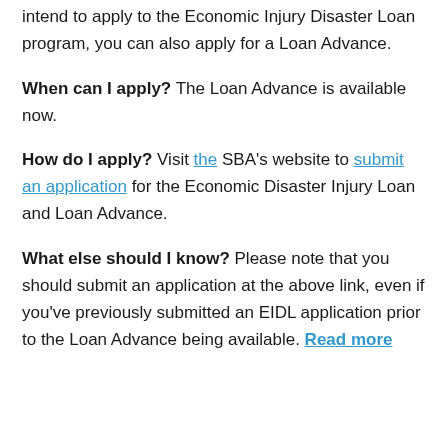intend to apply to the Economic Injury Disaster Loan program, you can also apply for a Loan Advance.
When can I apply? The Loan Advance is available now.
How do I apply? Visit the SBA's website to submit an application for the Economic Disaster Injury Loan and Loan Advance.
What else should I know? Please note that you should submit an application at the above link, even if you've previously submitted an EIDL application prior to the Loan Advance being available. Read more